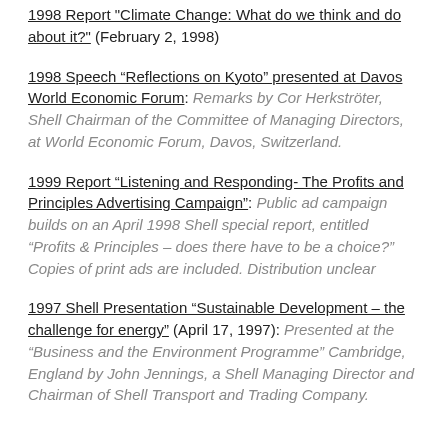1998 Report "Climate Change: What do we think and do about it?" (February 2, 1998)
1998 Speech “Reflections on Kyoto” presented at Davos World Economic Forum: Remarks by Cor Herkströter, Shell Chairman of the Committee of Managing Directors, at World Economic Forum, Davos, Switzerland.
1999 Report “Listening and Responding- The Profits and Principles Advertising Campaign”: Public ad campaign builds on an April 1998 Shell special report, entitled “Profits & Principles – does there have to be a choice?” Copies of print ads are included. Distribution unclear
1997 Shell Presentation “Sustainable Development – the challenge for energy” (April 17, 1997): Presented at the “Business and the Environment Programme” Cambridge, England by John Jennings, a Shell Managing Director and Chairman of Shell Transport and Trading Company.